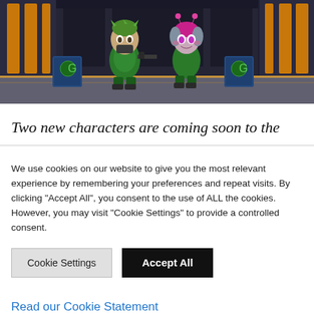[Figure (illustration): 3D animated video game characters — two cartoon-style chibi soldiers in green armor standing in a sci-fi hangar with yellow accent panels, blue crates with green logos on the floor.]
Two new characters are coming soon to the
We use cookies on our website to give you the most relevant experience by remembering your preferences and repeat visits. By clicking “Accept All”, you consent to the use of ALL the cookies. However, you may visit "Cookie Settings" to provide a controlled consent.
Cookie Settings | Accept All
Read our Cookie Statement